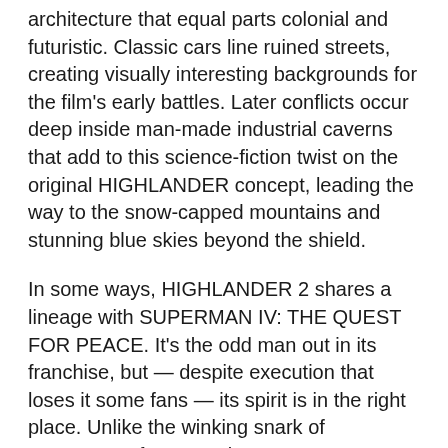architecture that equal parts colonial and futuristic. Classic cars line ruined streets, creating visually interesting backgrounds for the film's early battles. Later conflicts occur deep inside man-made industrial caverns that add to this science-fiction twist on the original HIGHLANDER concept, leading the way to the snow-capped mountains and stunning blue skies beyond the shield.
In some ways, HIGHLANDER 2 shares a lineage with SUPERMAN IV: THE QUEST FOR PEACE. It's the odd man out in its franchise, but — despite execution that loses it some fans — its spirit is in the right place. Unlike the winking snark of ROBOCOP, for example, HIGHLANDER 2 wears its socially conscious heart on its sleeve with utter sincerity.